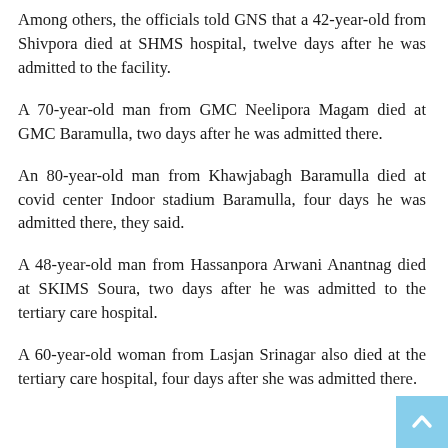Among others, the officials told GNS that a 42-year-old from Shivpora died at SHMS hospital, twelve days after he was admitted to the facility.
A 70-year-old man from GMC Neelipora Magam died at GMC Baramulla, two days after he was admitted there.
An 80-year-old man from Khawjabagh Baramulla died at covid center Indoor stadium Baramulla, four days he was admitted there, they said.
A 48-year-old man from Hassanpora Arwani Anantnag died at SKIMS Soura, two days after he was admitted to the tertiary care hospital.
A 60-year-old woman from Lasjan Srinagar also died at the tertiary care hospital, four days after she was admitted there.